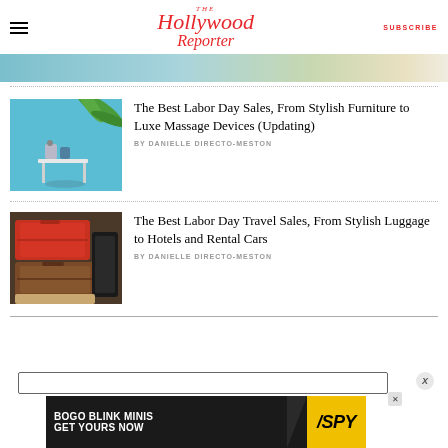The Hollywood Reporter | SUBSCRIBE
[Figure (photo): Partial image visible at top, outdoor/furniture scene]
The Best Labor Day Sales, From Stylish Furniture to Luxe Massage Devices (Updating)
BY DANIELLE DIRECTO-MESTON
The Best Labor Day Travel Sales, From Stylish Luggage to Hotels and Rental Cars
BY DANIELLE DIRECTO-MESTON
[Figure (other): Advertisement banner: BOGO BLINK MINIS GET YOURS NOW with SPY logo]